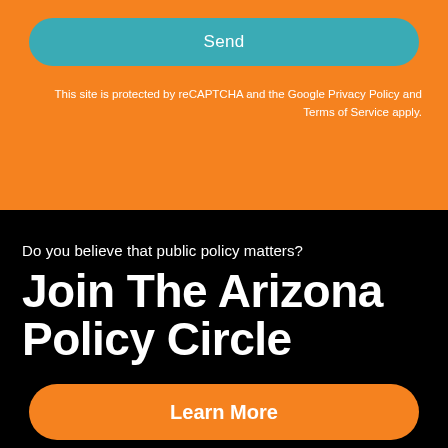Send
This site is protected by reCAPTCHA and the Google Privacy Policy and Terms of Service apply.
Do you believe that public policy matters?
Join The Arizona Policy Circle
Learn More